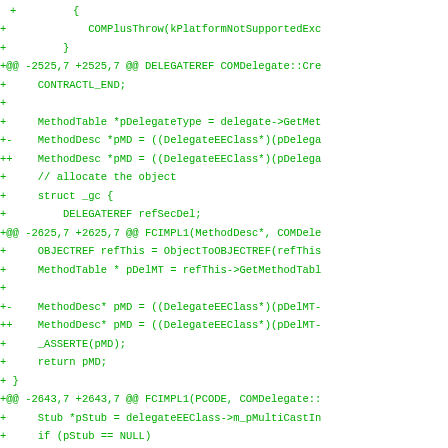Diff/patch code showing changes to COMDelegate source file